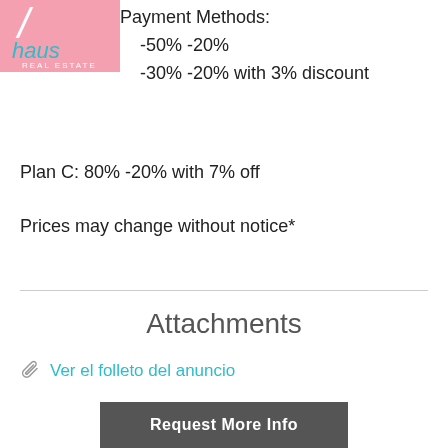[Figure (logo): Haus Real Estate logo - pink background with teal script text]
Payment Methods:
-50% -20%
-30% -20% with 3% discount
Plan C: 80% -20% with 7% off
Prices may change without notice*
Attachments
Ver el folleto del anuncio
Highlights